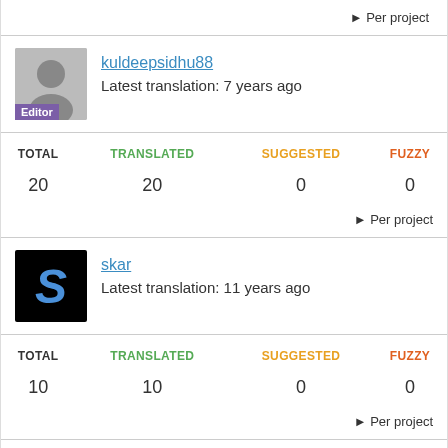▶ Per project
kuldeepsidhu88
Latest translation: 7 years ago
| TOTAL | TRANSLATED | SUGGESTED | FUZZY |
| --- | --- | --- | --- |
| 20 | 20 | 0 | 0 |
▶ Per project
skar
Latest translation: 11 years ago
| TOTAL | TRANSLATED | SUGGESTED | FUZZY |
| --- | --- | --- | --- |
| 10 | 10 | 0 | 0 |
▶ Per project
varinderguraya
Latest translation: 6 years ago